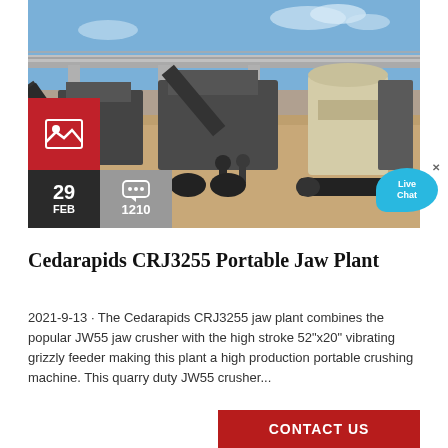[Figure (photo): Outdoor photograph of the Cedarapids CRJ3255 Portable Jaw Plant — large mobile crushing and screening machinery on a sandy construction site with an elevated highway bridge in the background. A red image-placeholder icon box overlays the lower-left of the photo. Overlaid in the lower portion are a dark date badge (29 FEB), a grey comment count badge (1210), and a Live Chat bubble in the upper-right corner.]
Cedarapids CRJ3255 Portable Jaw Plant
2021-9-13 · The Cedarapids CRJ3255 jaw plant combines the popular JW55 jaw crusher with the high stroke 52"x20" vibrating grizzly feeder making this plant a high production portable crushing machine. This quarry duty JW55 crusher...
CONTACT US